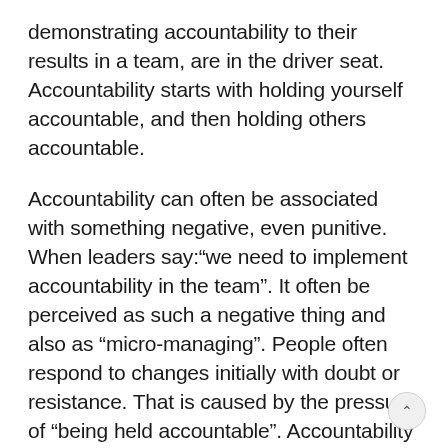demonstrating accountability to their results in a team, are in the driver seat. Accountability starts with holding yourself accountable, and then holding others accountable.
Accountability can often be associated with something negative, even punitive. When leaders say:"we need to implement accountability in the team". It often be perceived as such a negative thing and also as "micro-managing". People often respond to changes initially with doubt or resistance. That is caused by the pressure of "being held accountable". Accountability does expose the areas where things are lagging, it does not leave room for ambiguity or unclarity as it adds specificity. The accountability emotion curve looks like this: